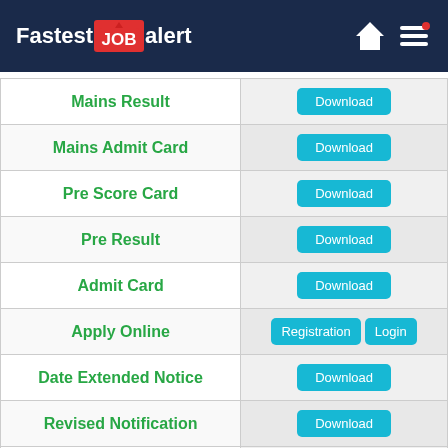FastestJOBalert
|  |  |
| --- | --- |
| Mains Result | Download |
| Mains Admit Card | Download |
| Pre Score Card | Download |
| Pre Result | Download |
| Admit Card | Download |
| Apply Online | Registration | Login |
| Date Extended Notice | Download |
| Revised Notification | Download |
| Admit Card | Download |
| Notification | Download |
| Official Website | Click Here |